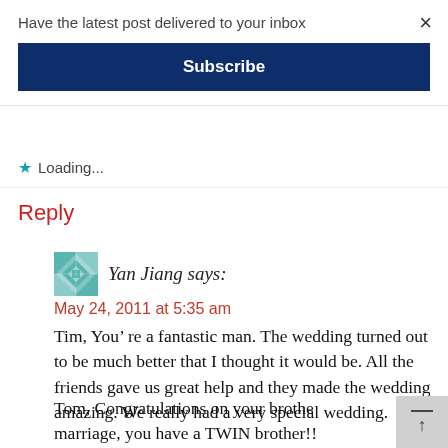Have the latest post delivered to your inbox
×
Subscribe
★ Loading...
Reply
Yan Jiang says:
May 24, 2011 at 5:35 am
Tim, You' re a fantastic man. The wedding turned out to be much better that I thought it would be. All the friends gave us great help and they made the wedding amazing. We really had a very special wedding.

Tom, Congratulations on your brother marriage, you have a TWIN brother!!